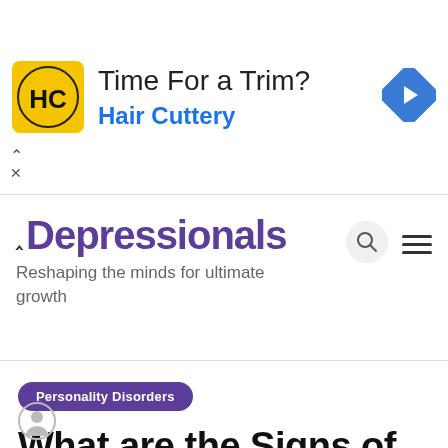[Figure (other): Advertisement banner for Hair Cuttery. Shows HC logo on yellow square background, text 'Time For a Trim?' and 'Hair Cuttery' in blue, and a blue diamond-shaped arrow sign on the right.]
Depressionals
Reshaping the minds for ultimate growth
Personality Disorders
What are the Signs of Self-Obsessed Person?